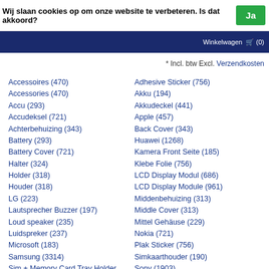Wij slaan cookies op om onze website te verbeteren. Is dat akkoord? Ja
Winkelwagen
* Incl. btw Excl. Verzendkosten
Accessoires (470)
Accessories (470)
Accu (293)
Accudeksel (721)
Achterbehuizing (343)
Battery (293)
Battery Cover (721)
Halter (324)
Holder (318)
Houder (318)
LG (223)
Lautsprecher Buzzer (197)
Loud speaker (235)
Luidspreker (237)
Microsoft (183)
Samsung (3314)
Sim + Memory Card Tray Holder
Sim + Speicherkarten Halter (194)
Sim Card Tray Holder (190)
Sim- + Geheugenkaart Houder
Adhesive Sticker (756)
Akku (194)
Akkudeckel (441)
Apple (457)
Back Cover (343)
Huawei (1268)
Kamera Front Seite (185)
Klebe Folie (756)
LCD Display Modul (686)
LCD Display Module (961)
Middenbehuizing (313)
Middle Cover (313)
Mittel Gehäuse (229)
Nokia (721)
Plak Sticker (756)
Simkaarthouder (190)
Sony (1903)
Volume Button (175)
Zubehoer (470)
buzzer (235)